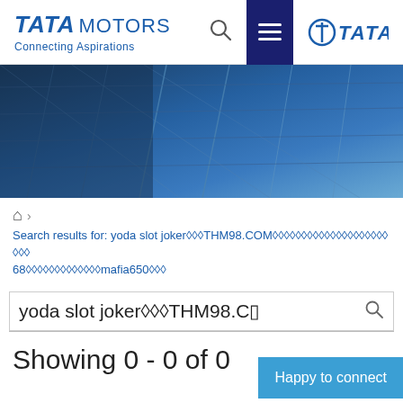[Figure (logo): Tata Motors logo with 'Connecting Aspirations' tagline and Tata group logo on the right, with search and menu icons in the header navigation bar]
[Figure (photo): Hero image showing a glass skyscraper building facade with blue reflective panels and grid-like structure]
🏠 ›
Search results for: yoda slot joker♦♦♦THM98.COM♦♦♦♦♦♦♦♦♦♦♦♦♦♦♦♦♦♦♦♦♦♦68♦♦♦♦♦♦♦♦♦♦♦♦♦mafia650♦♦♦
yoda slot joker♦♦♦THM98.CO
Showing 0 - 0 of 0
Happy to connect